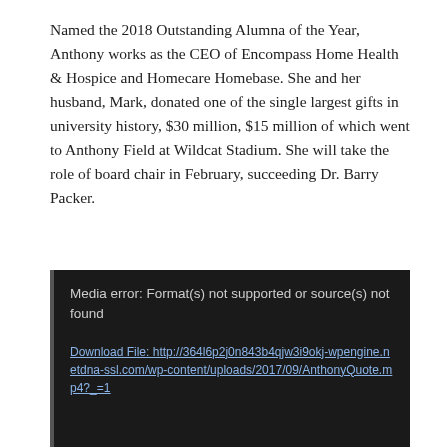Named the 2018 Outstanding Alumna of the Year, Anthony works as the CEO of Encompass Home Health & Hospice and Homecare Homebase. She and her husband, Mark, donated one of the single largest gifts in university history, $30 million, $15 million of which went to Anthony Field at Wildcat Stadium. She will take the role of board chair in February, succeeding Dr. Barry Packer.
[Figure (other): Media player error box with dark background showing: 'Media error: Format(s) not supported or source(s) not found' and a download link to http://364l6p2j0n843b4qjw3i9okj-wpengine.netdna-ssl.com/wp-content/uploads/2017/09/AnthonyQuote.mp4?_=1]